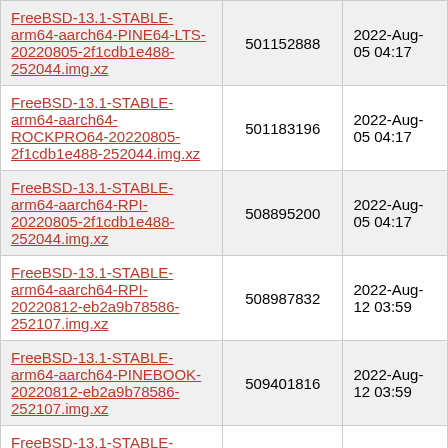| Filename | Size | Date |
| --- | --- | --- |
| FreeBSD-13.1-STABLE-arm64-aarch64-PINE64-LTS-20220805-2f1cdb1e488-252044.img.xz | 501152888 | 2022-Aug-05 04:17 |
| FreeBSD-13.1-STABLE-arm64-aarch64-ROCKPRO64-20220805-2f1cdb1e488-252044.img.xz | 501183196 | 2022-Aug-05 04:17 |
| FreeBSD-13.1-STABLE-arm64-aarch64-RPI-20220805-2f1cdb1e488-252044.img.xz | 508895200 | 2022-Aug-05 04:17 |
| FreeBSD-13.1-STABLE-arm64-aarch64-RPI-20220812-eb2a9b78586-252107.img.xz | 508987832 | 2022-Aug-12 03:59 |
| FreeBSD-13.1-STABLE-arm64-aarch64-PINEBOOK-20220812-eb2a9b78586-252107.img.xz | 509401816 | 2022-Aug-12 03:59 |
| FreeBSD-13.1-STABLE-arm64-aarch64-PINEBOOK-20220805-2f1cdb1e488-252044.img.xz | 509414332 | 2022-Aug-05 04:17 |